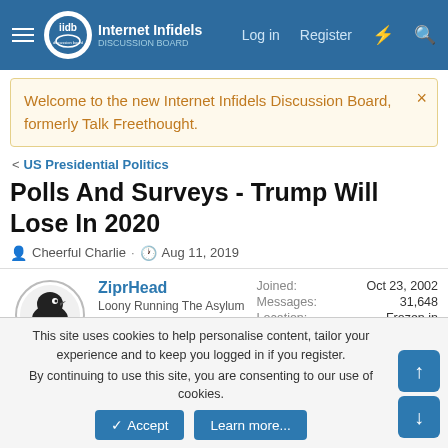Internet Infidels Discussion Board — Log in  Register
Welcome to the new Internet Infidels Discussion Board, formerly Talk Freethought.
< US Presidential Politics
Polls And Surveys - Trump Will Lose In 2020
Cheerful Charlie · Aug 11, 2019
ZiprHead
Loony Running The Asylum
Staff member
Joined: Oct 23, 2002
Messages: 31,648
Location: Frozen in Michigan
Gender: Old Fart
Basic Beliefs: Democratic Socialist Atheist
This site uses cookies to help personalise content, tailor your experience and to keep you logged in if you register.
By continuing to use this site, you are consenting to our use of cookies.